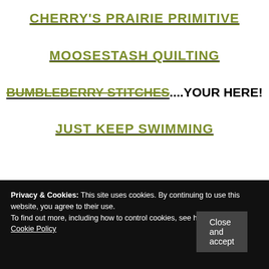CHERRY'S PRAIRIE PRIMITIVE
MOOSESTASH QUILTING
BUMBLEBERRY STITCHES....YOUR HERE!
JUST KEEP SWIMMING
Privacy & Cookies: This site uses cookies. By continuing to use this website, you agree to their use.
To find out more, including how to control cookies, see here:
Cookie Policy
Close and accept